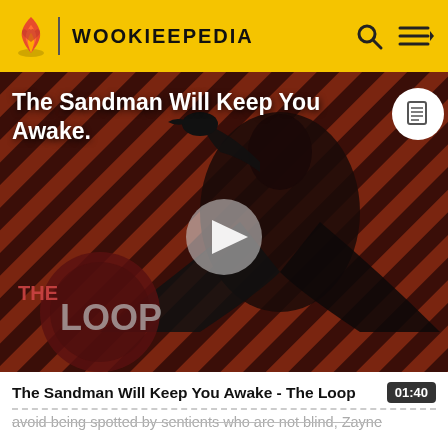WOOKIEEPEDIA
[Figure (screenshot): Video thumbnail for 'The Sandman Will Keep You Awake - The Loop' showing a dark-cloaked figure against a red and black diagonal striped background with THE LOOP logo overlay and a play button in the center.]
The Sandman Will Keep You Awake - The Loop  01:40
avoid being spotted by sentients who are not blind, Zayne breaks a glass with the Force in anger for how his Masters massacred his friends in cold blood. Gryph suggested that